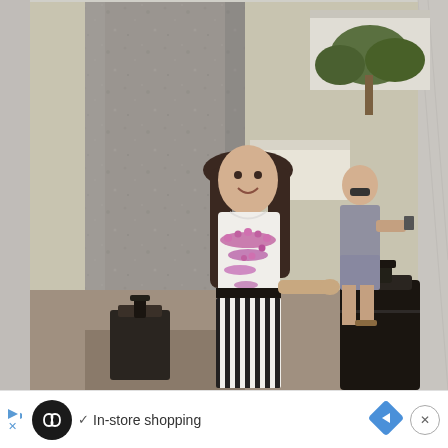[Figure (photo): A vintage photograph of a young girl wearing a white t-shirt with a pink/purple lei around her neck, black and white striped wide-leg pants, standing next to a large dark suitcase beside a granite pillar. In the background, a bald man in a grey outfit is walking. The scene appears to be a hotel or resort entrance with palm trees and a building visible. The photo has a slightly washed-out vintage look.]
In-store shopping